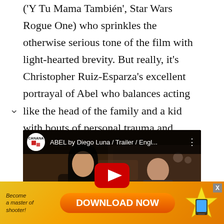('Y Tu Mama También', 'Star Wars Rogue One') who sprinkles the otherwise serious tone of the film with light-hearted brevity. But really, it's Christopher Ruiz-Esparza's excellent portrayal of Abel who balances acting like the head of the family and a kid with bouts of personal trauma and occurring mental illness is the true gem of this amazing film.
[Figure (screenshot): Embedded YouTube video player showing trailer for 'ABEL by Diego Luna / Trailer / Engl...' with Canana Films logo, video thumbnail showing two people (woman and child), and YouTube play button overlay.]
[Figure (screenshot): Advertisement banner with golden/orange gradient background. Text on left: 'Become a master of shooter!' Center: orange 'DOWNLOAD NOW' button. Right: colorful star-shaped graphic. Close X button top right.]